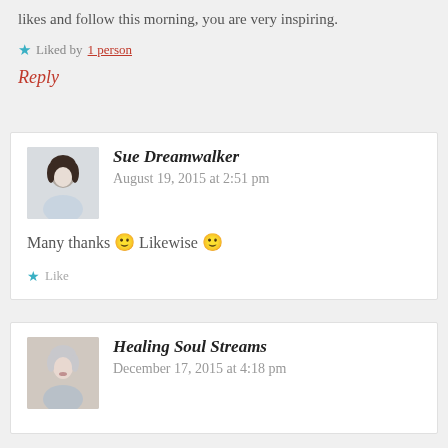likes and follow this morning, you are very inspiring.
Liked by 1 person
Reply
Sue Dreamwalker  August 19, 2015 at 2:51 pm
Many thanks 🙂 Likewise 🙂
Like
Healing Soul Streams  December 17, 2015 at 4:18 pm